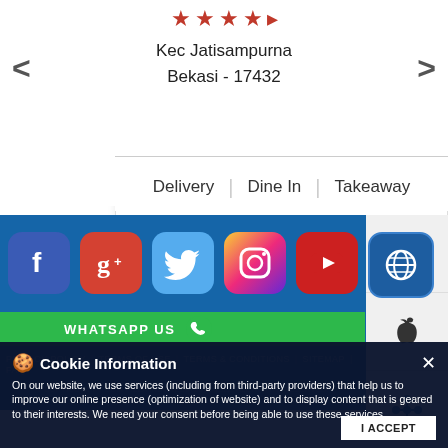[Figure (screenshot): Restaurant listing card showing stars, address: Kec Jatisampurna, Bekasi - 17432, with navigation arrows and service options]
Kec Jatisampurna
Bekasi - 17432
Delivery | Dine In | Takeaway
[Figure (screenshot): Social media icons row: Facebook, Google+, Twitter, Instagram, YouTube, Website globe on blue background]
[Figure (screenshot): Right panel with Android, Apple, and other app icons]
WHATSAPP US
PRIVACY POLICY | TERMS OF USE | TERMS & CONDITIONS | SITEMAP | FAQ
© COPYRIGHT PT DOM PIZZA INDONESIA 2012-2022. ALL RIGHTS RESERVED.
Powered by : SingleInterface
Cookie Information
On our website, we use services (including from third-party providers) that help us to improve our online presence (optimization of website) and to display content that is geared to their interests. We need your consent before being able to use these services.
I ACCEPT